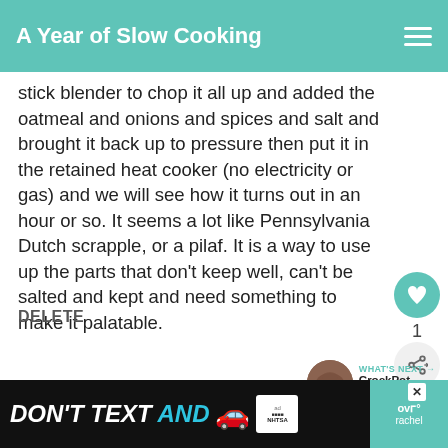A Year of Slow Cooking
stick blender to chop it all up and added the oatmeal and onions and spices and salt and brought it back up to pressure then put it in the retained heat cooker (no electricity or gas) and we will see how it turns out in an hour or so. It seems a lot like Pennsylvania Dutch scrapple, or a pilaf. It is a way to use up the parts that don't keep well, can't be salted and kept and need something to make it palatable.
DELETE
1
WHAT'S NEXT → CrockPot Gumbo Recipe
MARIE MULLEN, GLASGOW SCOTLAND
8/21/2009
[Figure (infographic): DON'T TEXT AND advertisement banner with car emoji and NHTSA logo]